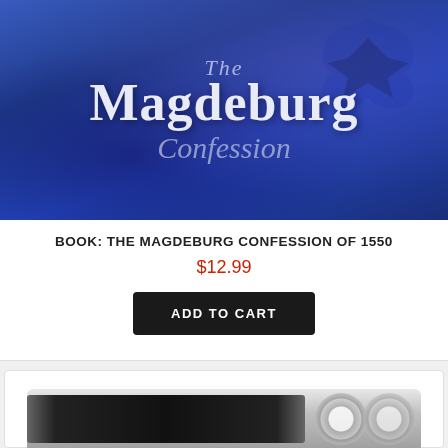[Figure (photo): Book cover of 'The Magdeburg Confession' — blue background with eagle silhouette and serif title text]
BOOK: THE MAGDEBURG CONFESSION OF 1550
$12.99
ADD TO CART
[Figure (photo): Partial view of a CD/DVD product — second product card visible at the bottom of the page]